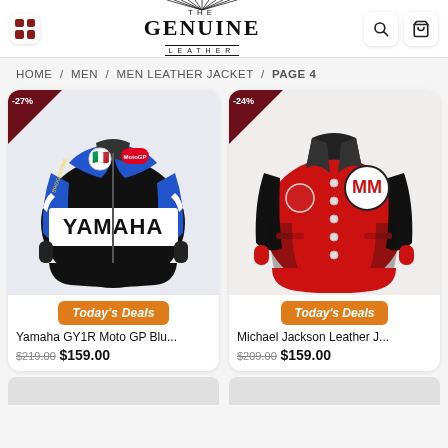The Genuine Leather — navigation header with grid icon, logo, search and cart icons
HOME / MEN / MEN LEATHER JACKET / PAGE 4
[Figure (photo): Yamaha GY1R Moto GP blue and black motorcycle leather racing jacket with YAMAHA branding, AGV helmet badge, and MotoGP patches. -27% badge in top-left corner. Today's Deals button.]
Yamaha GY1R Moto GP Blu...
$219.00  $159.00
[Figure (photo): Michael Jackson red and black varsity leather jacket with MM patch on chest. -24% badge in top-left corner. Today's Deals button.]
Michael Jackson Leather J...
$209.00  $159.00